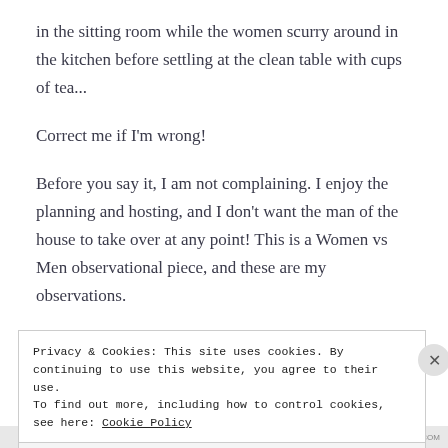in the sitting room while the women scurry around in the kitchen before settling at the clean table with cups of tea...
Correct me if I'm wrong!
Before you say it, I am not complaining. I enjoy the planning and hosting, and I don't want the man of the house to take over at any point! This is a Women vs Men observational piece, and these are my observations.
Privacy & Cookies: This site uses cookies. By continuing to use this website, you agree to their use.
To find out more, including how to control cookies, see here: Cookie Policy
Close and accept